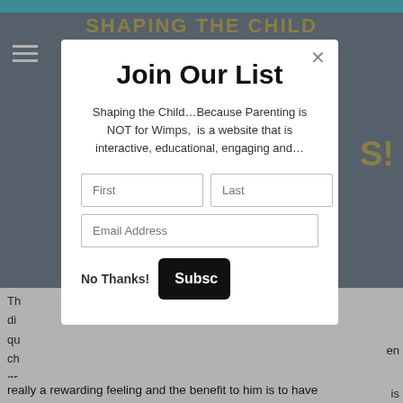[Figure (screenshot): Website screenshot showing 'Shaping the Child' parenting website header with a modal popup dialog titled 'Join Our List' containing a subscription form with First, Last, Email Address fields, No Thanks and Subscribe buttons, overlaying body text about the website]
Join Our List
Shaping the Child…Because Parenting is NOT for Wimps,  is a website that is interactive, educational, engaging and…
No Thanks!
Subscribe
really a rewarding feeling and the benefit to him is to have